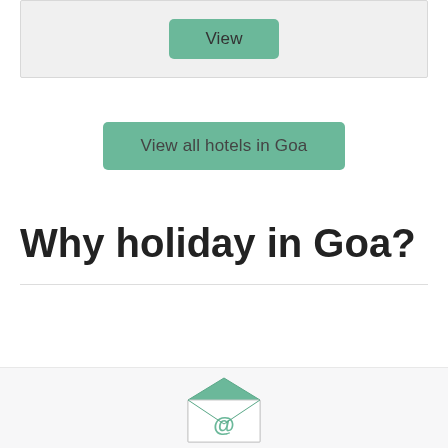[Figure (screenshot): A card/panel with a green 'View' button centered inside a light gray box]
View all hotels in Goa
Why holiday in Goa?
[Figure (illustration): Email envelope icon with @ symbol, green and white, partially visible at bottom of page]